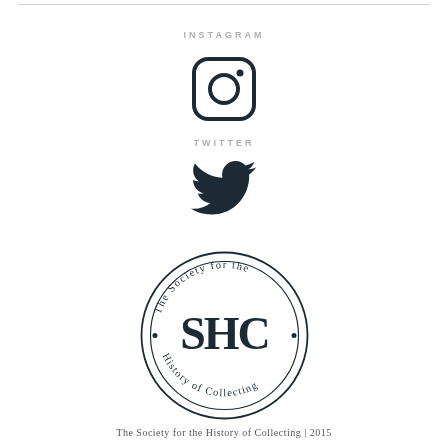[Figure (logo): Instagram icon — rounded square with camera lens outline]
INSTAGRAM
[Figure (logo): Twitter bird icon — stylized flying bird silhouette]
TWITTER
[Figure (logo): The Society for the History of Collecting circular seal with SHC monogram in center]
The Society for the History of Collecting | 2015